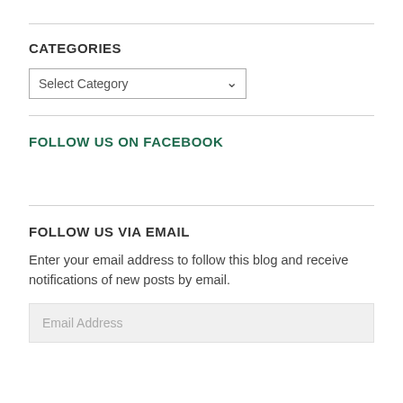CATEGORIES
[Figure (screenshot): Dropdown select box with 'Select Category' placeholder and chevron arrow]
FOLLOW US ON FACEBOOK
FOLLOW US VIA EMAIL
Enter your email address to follow this blog and receive notifications of new posts by email.
Email Address